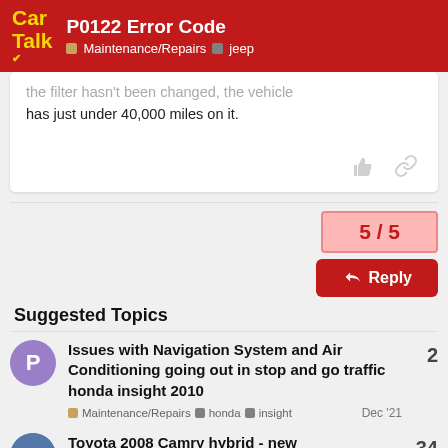P0122 Error Code | Maintenance/Repairs | jeep
The filter hasn't been changed, the vehicle has just under 40,000 miles on it.
5 / 5
Reply
Suggested Topics
Issues with Navigation System and Air Conditioning going out in stop and go traffic honda insight 2010 | Maintenance/Repairs | honda | insight | Dec '21 | 2
Toyota 2008 Camry hybrid - new | 34